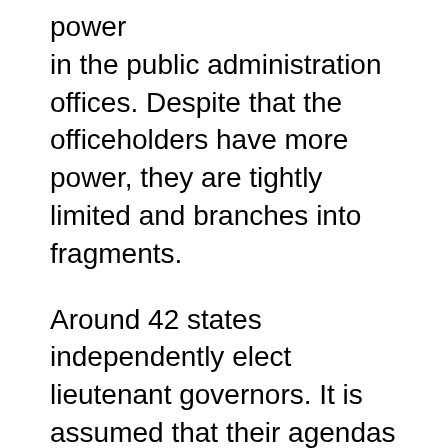power in the public administration offices. Despite that the officeholders have more power, they are tightly limited and branches into fragments.
Around 42 states independently elect lieutenant governors. It is assumed that their agendas are different from other states. In the 18th century however some of these rules changed because the limits were also set on the presidents. The 12th Amendment in the Constitution brought forth the changes that gave the president and vice presidents more power